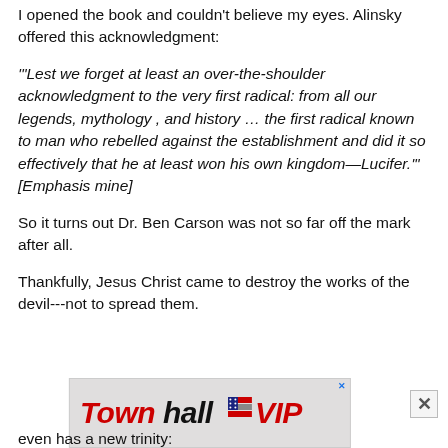I opened the book and couldn't believe my eyes. Alinsky offered this acknowledgment:
'"Lest we forget at least an over-the-shoulder acknowledgment to the very first radical: from all our legends, mythology , and history … the first radical known to man who rebelled against the establishment and did it so effectively that he at least won his own kingdom—Lucifer.'"[Emphasis mine]
So it turns out Dr. Ben Carson was not so far off the mark after all.
Thankfully, Jesus Christ came to destroy the works of the devil---not to spread them.
[Figure (logo): Townhall VIP advertisement banner with red and black stylized text and a small American flag icon]
even has a new trinity: